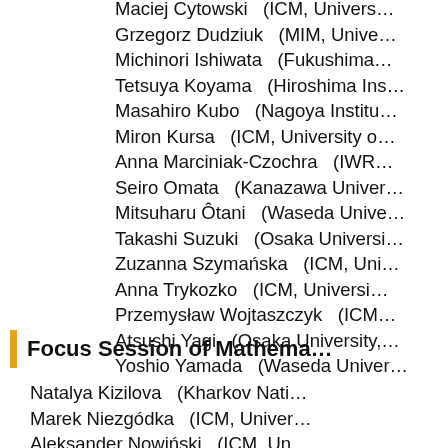Maciej Cytowski   (ICM, Univers…
Grzegorz Dudziuk   (MIM, Unive…
Michinori Ishiwata   (Fukushima…
Tetsuya Koyama   (Hiroshima Ins…
Masahiro Kubo   (Nagoya Institu…
Miron Kursa   (ICM, University o…
Anna Marciniak-Czochra   (IWR…
Seiro Omata   (Kanazawa Univer…
Mitsuharu Ôtani   (Waseda Unive…
Takashi Suzuki   (Osaka Universi…
Zuzanna Szymańska   (ICM, Uni…
Anna Trykozko   (ICM, Universi…
Przemysław Wojtaszczyk   (ICM…
Atsushi Yagi   (Osaka University,…
Yoshio Yamada   (Waseda Univer…
Focus Session of Mathema…
Natalya Kizilova   (Kharkov Nati…
Marek Niezgódka   (ICM, Univer…
Aleksander Nowiński   (ICM, Un…
Kazuhiko Yamamoto   (Kinki Un…
Akira Yanou   (Okayama Univers…